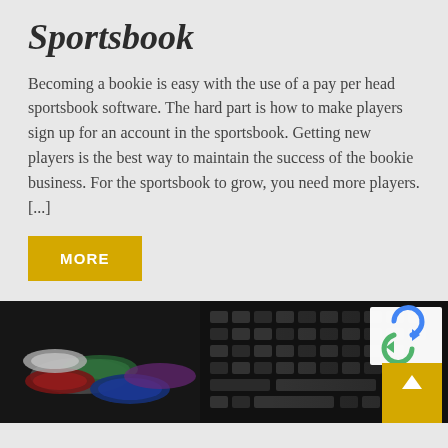Sportsbook
Becoming a bookie is easy with the use of a pay per head sportsbook software. The hard part is how to make players sign up for an account in the sportsbook. Getting new players is the best way to maintain the success of the bookie business. For the sportsbook to grow, you need more players. [...]
MORE
[Figure (photo): Blurred photo of poker chips (red, blue, green, white) scattered on a keyboard, dark background. A reCAPTCHA badge and a yellow scroll-to-top button with white arrow are overlaid in the bottom-right corner.]